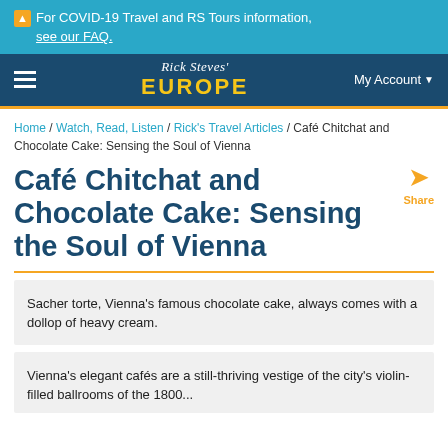⚠ For COVID-19 Travel and RS Tours information, see our FAQ.
[Figure (logo): Rick Steves' EUROPE logo with hamburger menu and My Account button on dark blue navbar]
Home / Watch, Read, Listen / Rick's Travel Articles / Café Chitchat and Chocolate Cake: Sensing the Soul of Vienna
Café Chitchat and Chocolate Cake: Sensing the Soul of Vienna
Sacher torte, Vienna's famous chocolate cake, always comes with a dollop of heavy cream.
Vienna's elegant cafés are a still-thriving vestige of the city's violin-filled ballrooms of the 1800...